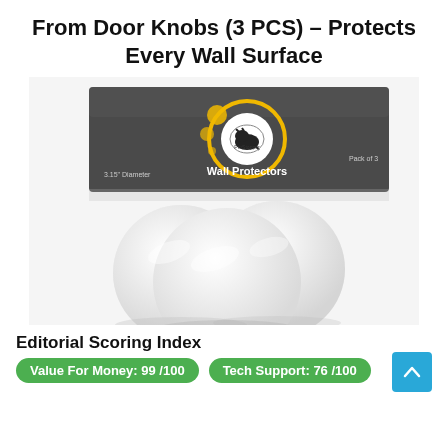From Door Knobs (3 PCS) - Protects Every Wall Surface
[Figure (photo): Product photo showing a box of ProStopper Wall Protectors (Pack of 3, 3.15 inch Diameter) with three white circular wall protector pads in front of the box. The box has a dark grey background with a gold and white logo.]
Editorial Scoring Index
Value For Money: 99 /100
Tech Support: 76 /100